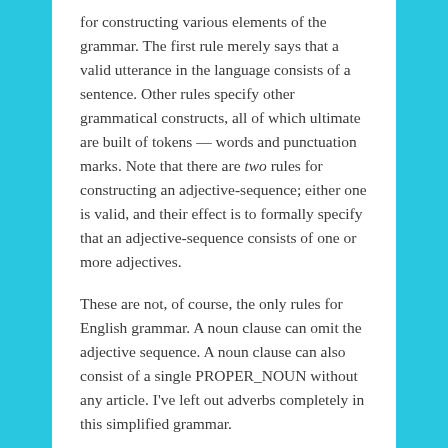for constructing various elements of the grammar. The first rule merely says that a valid utterance in the language consists of a sentence. Other rules specify other grammatical constructs, all of which ultimate are built of tokens — words and punctuation marks. Note that there are two rules for constructing an adjective-sequence; either one is valid, and their effect is to formally specify that an adjective-sequence consists of one or more adjectives.
These are not, of course, the only rules for English grammar. A noun clause can omit the adjective sequence. A noun clause can also consist of a single PROPER_NOUN without any article. I've left out adverbs completely in this simplified grammar.
Furthermore, the Backus-Naur form assumes